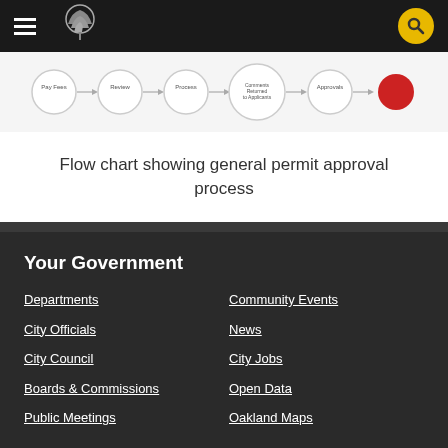Navigation bar with hamburger menu, Oakland city logo, and search button
[Figure (flowchart): Partial flow chart showing general permit approval process steps: Pay Fees, Review, Process, Comments Returned to Applicants, Approvals, and a red circle end node]
Flow chart showing general permit approval process
Your Government
Departments
Community Events
City Officials
News
City Council
City Jobs
Boards & Commissions
Open Data
Public Meetings
Oakland Maps